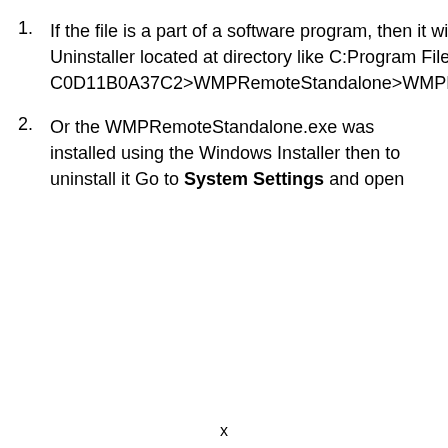If the file is a part of a software program, then it will also have an uninstall program. Then you can run the Uninstaller located at directory like C:Program Files>7F8FC1D4-E2D6-48F4-949B-C0D11B0A37C2>WMPRemoteStandalone>WMPRemoteStandalone>WMPRemoteStandalone.exe_uninstall.exe.
Or the WMPRemoteStandalone.exe was installed using the Windows Installer then to uninstall it Go to System Settings and open
x